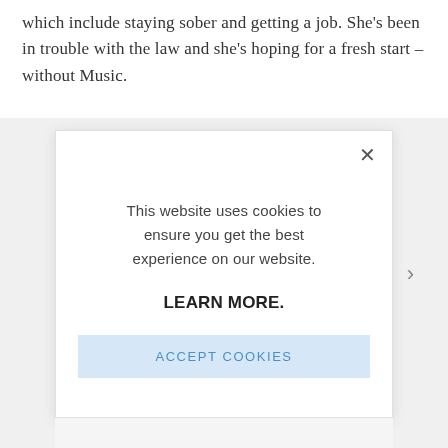which include staying sober and getting a job. She's been in trouble with the law and she's hoping for a fresh start – without Music.
[Figure (screenshot): Cookie consent modal dialog overlay on a webpage. The modal has a white background with a close (×) button in the top right corner. It displays the text 'This website uses cookies to ensure you get the best experience on our website.' followed by a bold 'LEARN MORE.' link and a light blue 'ACCEPT COOKIES' button.]